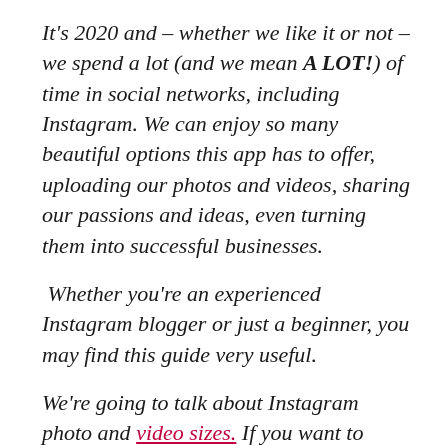It's 2020 and – whether we like it or not – we spend a lot (and we mean A LOT!) of time in social networks, including Instagram. We can enjoy so many beautiful options this app has to offer, uploading our photos and videos, sharing our passions and ideas, even turning them into successful businesses.
Whether you're an experienced Instagram blogger or just a beginner, you may find this guide very useful.
We're going to talk about Instagram photo and video sizes. If you want to know which ones you should use and in what case, in order not to lose quality and for more appealing look of your